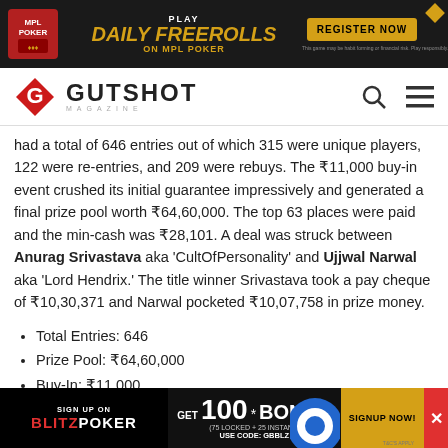[Figure (other): MPL Poker top banner ad: PLAY DAILY FREEROLLS ON MPL POKER with REGISTER NOW button]
[Figure (logo): Gutshot Magazine logo with red diamond G icon and GUTSHOT MAGAZINE wordmark, search and menu icons]
had a total of 646 entries out of which 315 were unique players, 122 were re-entries, and 209 were rebuys. The ₹11,000 buy-in event crushed its initial guarantee impressively and generated a final prize pool worth ₹64,60,000. The top 63 places were paid and the min-cash was ₹28,101. A deal was struck between Anurag Srivastava aka 'CultOfPersonality' and Ujjwal Narwal aka 'Lord Hendrix.' The title winner Srivastava took a pay cheque of ₹10,30,371 and Narwal pocketed ₹10,07,758 in prize money.
Total Entries: 646
Prize Pool: ₹64,60,000
Buy-In: ₹11,000
Places Paid: 63
Min-Cash: ₹28,101
[Figure (other): BlitzPoker bottom banner ad: SIGN UP ON BLITZPOKER, GET 100* BONUS (75 LOCKED + 25 INSTANT), USE CODE: GBBLZ, SIGNUP NOW button]